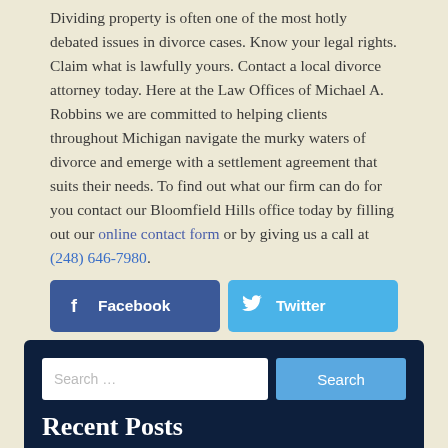Dividing property is often one of the most hotly debated issues in divorce cases. Know your legal rights. Claim what is lawfully yours. Contact a local divorce attorney today. Here at the Law Offices of Michael A. Robbins we are committed to helping clients throughout Michigan navigate the murky waters of divorce and emerge with a settlement agreement that suits their needs. To find out what our firm can do for you contact our Bloomfield Hills office today by filling out our online contact form or by giving us a call at (248) 646-7980.
[Figure (other): Social media share buttons: Facebook (dark blue), Twitter (light blue), LinkedIn (medium blue)]
[Figure (other): Search widget with text input field showing placeholder 'Search ...' and a blue Search button, followed by a 'Recent Posts' heading, all on a dark navy background]